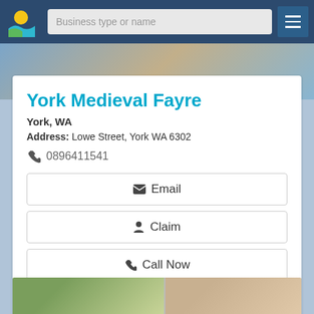Business type or name
York Medieval Fayre
York, WA
Address: Lowe Street, York WA 6302
0896411541
Email
Claim
Call Now
View Details
[Figure (photo): Partial photo strip at bottom showing outdoor scene and a person]